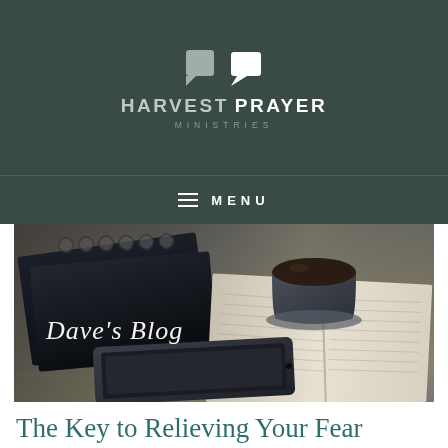HARVEST PRAYER MINISTRIES
MENU
[Figure (photo): Photo of notebooks, an open journal, a cup of coffee/tea, and a tablet on a wooden table, with the text 'Dave's Blog' overlaid in white cursive script.]
The Key to Relieving Your Fear